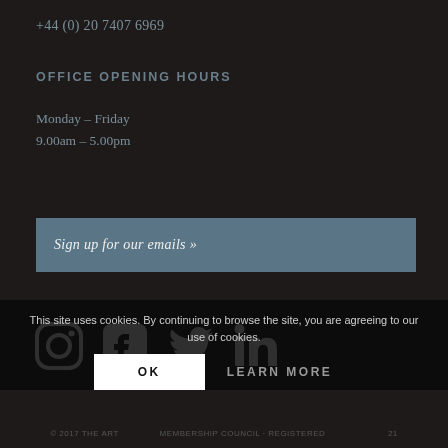+44 (0) 20 7407 6969
OFFICE OPENING HOURS
Monday – Friday
9.00am – 5.00pm
Sign up for our emails »
[Figure (infographic): Social media icons: Instagram, Facebook, Twitter, LinkedIn]
This site uses cookies. By continuing to browse the site, you are agreeing to our use of cookies.
OK
LEARN MORE
© 2017 THE ART... MEMBERSHIP COUNCIL. REGISTERED...